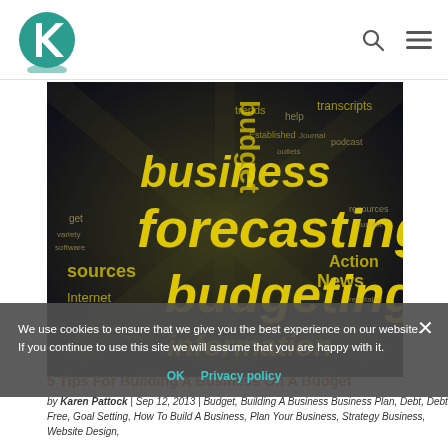K logo | search icon | menu icon
[Figure (illustration): Word cloud image with business-related terms in yellow and white on dark background. Prominent words include 'business', 'forecasting', 'budgeting', 'information', 'News', 'Action', 'Internet', 'sources', 'trends', 'budget', 'help'.]
We use cookies to ensure that we give you the best experience on our website. If you continue to use this site we will assume that you are happy with it.
OK | Privacy policy
5 Tips For Building A Business On A Budget
by Karen Pattock | Sep 12, 2013 | Budget, Building A Business Business Plan, Debt, Debt Free, Goal Setting, How To Build A Business, Plan Your Business, Strategy Business, Website Design,